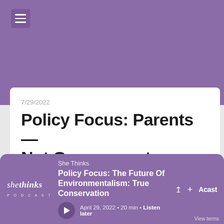[Figure (screenshot): Purple header background with hamburger menu icon]
7/29/2022
Policy Focus: Parents—Not Government—...
Carrie Lukas joins the podcast to discuss this month's policy focus:Parents—Not Government—Should Control Child Care. We address the very real need...
She Thinks
Policy Focus: The Future Of Environmentalism: True Conservation
April 29, 2022 • 20 min • Listen later
Acast
View terms